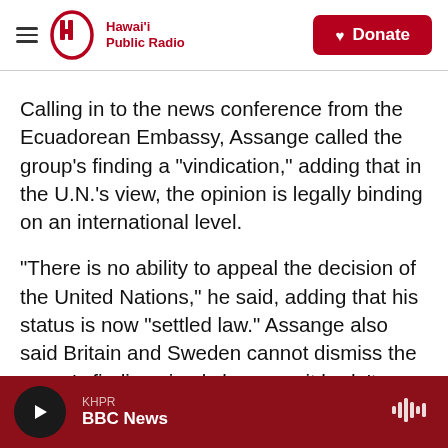Hawai'i Public Radio | Donate
Calling in to the news conference from the Ecuadorean Embassy, Assange called the group's finding a "vindication," adding that in the U.N.'s view, the opinion is legally binding on an international level.
"There is no ability to appeal the decision of the United Nations," he said, adding that his status is now "settled law." Assange also said Britain and Sweden cannot dismiss the group's finding simply because it hadn't gone their way.
KHPR BBC News